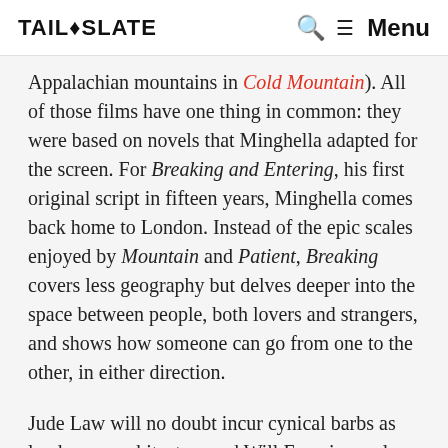TAIL SLATE | Search | Menu
Appalachian mountains in Cold Mountain). All of those films have one thing in common: they were based on novels that Minghella adapted for the screen. For Breaking and Entering, his first original script in fifteen years, Minghella comes back home to London. Instead of the epic scales enjoyed by Mountain and Patient, Breaking covers less geography but delves deeper into the space between people, both lovers and strangers, and shows how someone can go from one to the other, in either direction.
Jude Law will no doubt incur cynical barbs as landscape architect named Will Francis, a role that seems to closely imitate life. The famed philandering bachelor here lives with his estranged girlfriend Liv (Robin Wight Penn, affecting a Scandinavian accent).